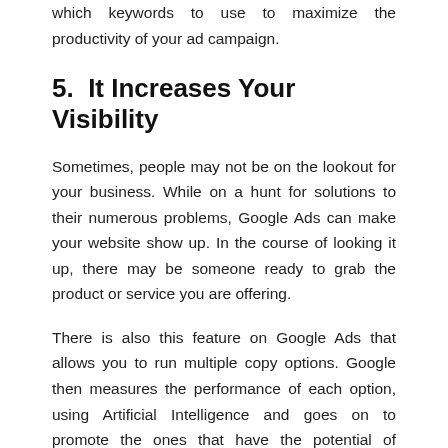which keywords to use to maximize the productivity of your ad campaign.
5.  It Increases Your Visibility
Sometimes, people may not be on the lookout for your business. While on a hunt for solutions to their numerous problems, Google Ads can make your website show up. In the course of looking it up, there may be someone ready to grab the product or service you are offering.
There is also this feature on Google Ads that allows you to run multiple copy options. Google then measures the performance of each option, using Artificial Intelligence and goes on to promote the ones that have the potential of getting more clicks. So, capitalize on the pay-per-click option to show your brand to the world, while operating